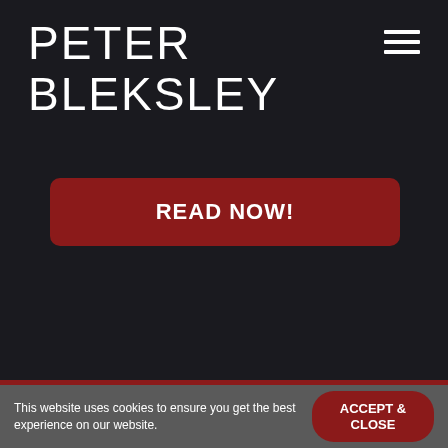PETER BLEKSLEY
[Figure (other): Hamburger menu icon (three horizontal white lines)]
READ NOW!
This website uses cookies to ensure you get the best experience on our website.
ACCEPT & CLOSE